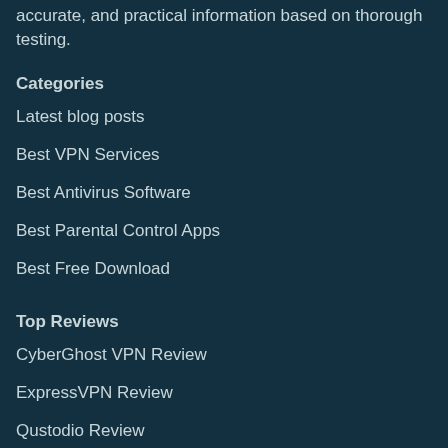accurate, and practical information based on thorough testing.
Categories
Latest blog posts
Best VPN Services
Best Antivirus Software
Best Parental Control Apps
Best Free Download
Top Reviews
CyberGhost VPN Review
ExpressVPN Review
Qustodio Review
Private Internet Access Review
Norton Antivirus Review